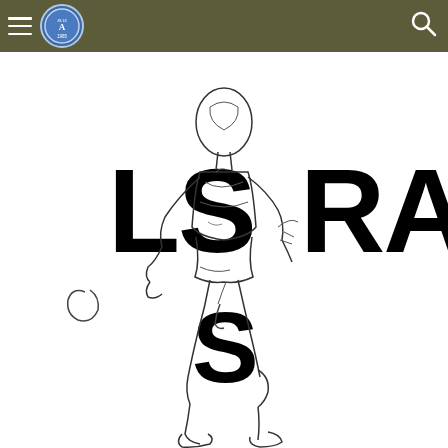LSARA website header with hamburger menu, circular logo, and search icon
[Figure (illustration): Hand-drawn sketch of a humanoid figure in a wide stance overlaid with large bold black letters spelling 'LSARA S'. The letters LS appear on the left, RA on the right, and S below center. The figure is drawn in pencil/pen sketch style with rough lines suggesting a robot or mannequin-like form.]